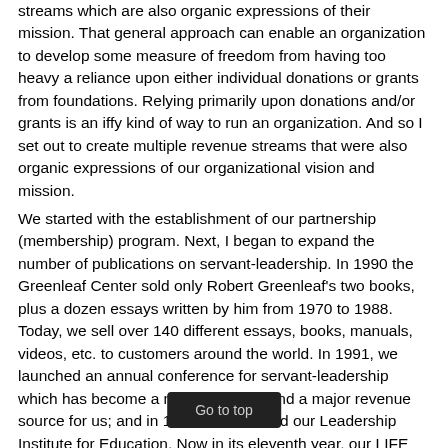streams which are also organic expressions of their mission. That general approach can enable an organization to develop some measure of freedom from having too heavy a reliance upon either individual donations or grants from foundations. Relying primarily upon donations and/or grants is an iffy kind of way to run an organization. And so I set out to create multiple revenue streams that were also organic expressions of our organizational vision and mission.
We started with the establishment of our partnership (membership) program. Next, I began to expand the number of publications on servant-leadership. In 1990 the Greenleaf Center sold only Robert Greenleaf's two books, plus a dozen essays written by him from 1970 to 1988. Today, we sell over 140 different essays, books, manuals, videos, etc. to customers around the world. In 1991, we launched an annual conference for servant-leadership which has become a major program and a major revenue source for us; and in 1995 we launched our Leadership Institute for Education. Now in its eleventh year, our LIFE program h[...]00 participants from more than 200 colleges and unive[...]arly '90s we also